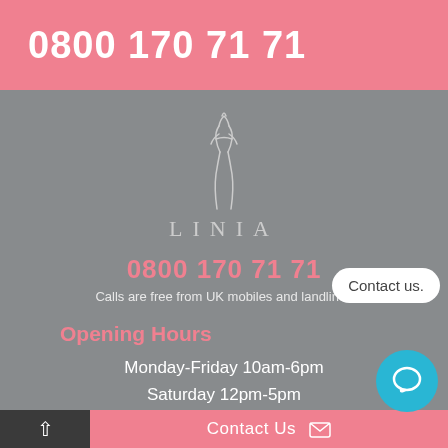0800 170 71 71
[Figure (logo): Linia brand logo with stylized female figure silhouette and the word LINIA in spaced letters below]
0800 170 71 71
Calls are free from UK mobiles and landlines
Opening Hours
Monday-Friday 10am-6pm
Saturday 12pm-5pm
Contact us.
Contact Us